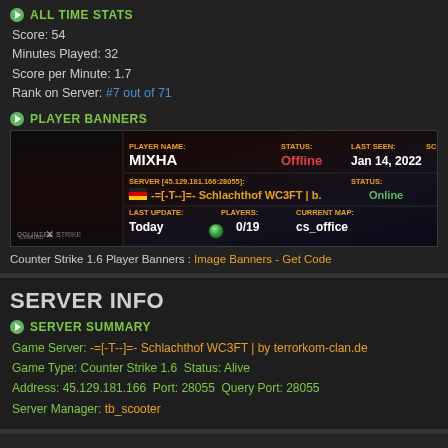ALL TIME STATS
Score: 54
Minutes Played: 32
Score per Minute: 1.7
Rank on Server: #7 out of 71
PLAYER BANNERS
[Figure (screenshot): Counter-Strike 1.6 player banner showing player MIXHA, status Offline, last seen Jan 14 2022, server -=[-T--]=- Schlachthof WC3FT | b.Online, players 0/19, current map cs_office]
Counter Strike 1.6 Player Banners : Image Banners - Get Code
SERVER INFO
SERVER SUMMARY
Game Server: -=[-T--]=- Schlachthof WC3FT | by terrorkom-clan.de
Game Type: Counter Strike 1.6  Status: Alive
Address: 45.129.181.166  Port: 28055  Query Port: 28055
Server Manager: tb_scooter
ADVERTISEMENT